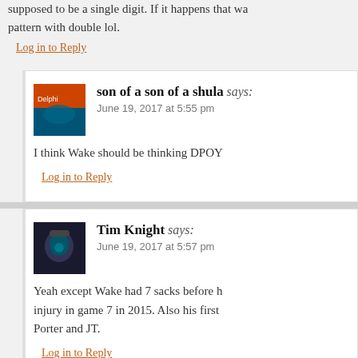supposed to be a single digit. If it happens that wa pattern with double lol.
Log in to Reply
son of a son of a shula says: June 19, 2017 at 5:55 pm
I think Wake should be thinking DPOY
Log in to Reply
Tim Knight says: June 19, 2017 at 5:57 pm
Yeah except Wake had 7 sacks before h injury in game 7 in 2015. Also his first Porter and JT.
Log in to Reply